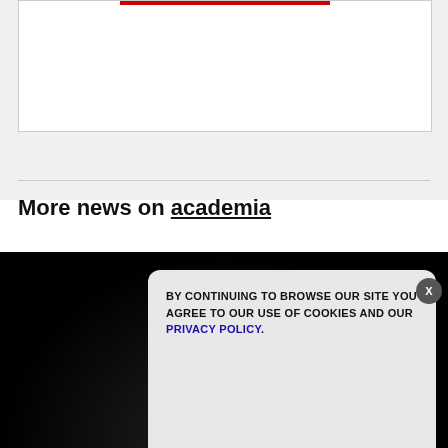[Figure (other): White content box with red bar at top, shown partially]
More news on academia
GET THE WORLD'S BEST NATURAL HEALTH NEWSLETTER DELIVERED STRAIGHT TO YOUR INBOX
Enter Your Email Address
SUBSCRIBE
BY CONTINUING TO BROWSE OUR SITE YOU AGREE TO OUR USE OF COOKIES AND OUR PRIVACY POLICY.
Agree and close